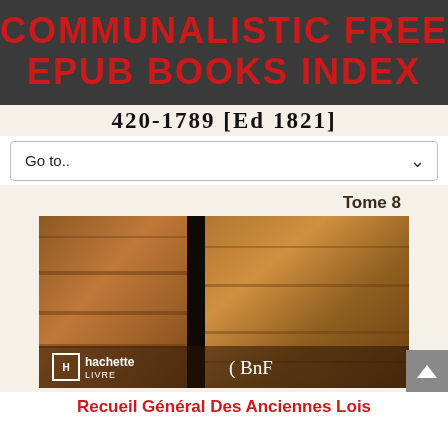COMMUNALISTIC FREE EPUB BOOKS INDEX
420-1789 [Ed. 1821]
Go to..
[Figure (photo): Book cover showing old leather-bound volumes stacked on shelves. Text on cover reads 'Tome 8' and publisher logos for Hachette Livre and BnF.]
Recueil Général Des Anciennes Lois